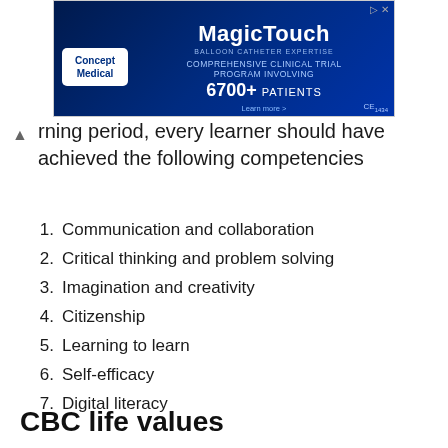[Figure (other): Advertisement banner for Concept Medical MagicTouch product. Blue background with text: MagicTouch, Comprehensive Clinical Trial Program Involving 6700+ Patients, CE 1434, learn more.]
...rning period, every learner should have achieved the following competencies
1. Communication and collaboration
2. Critical thinking and problem solving
3. Imagination and creativity
4. Citizenship
5. Learning to learn
6. Self-efficacy
7. Digital literacy
CBC life values